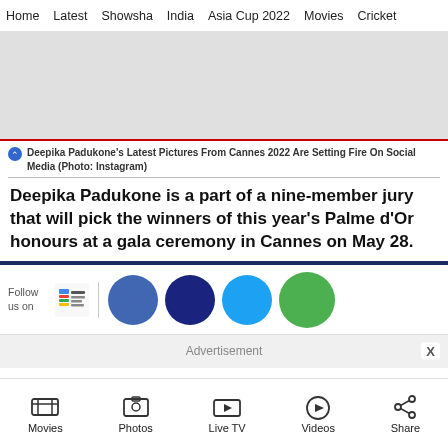Home  Latest  Showsha  India  Asia Cup 2022  Movies  Cricket
[Figure (photo): Large image placeholder (light gray rectangle)]
Deepika Padukone's Latest Pictures From Cannes 2022 Are Setting Fire On Social Media (Photo: Instagram)
Deepika Padukone is a part of a nine-member jury that will pick the winners of this year's Palme d'Or honours at a gala ceremony in Cannes on May 28.
[Figure (infographic): Social media follow bar with Google News icon, and circular icons for Facebook, Twitter, WhatsApp, and another social network]
[Figure (screenshot): Advertisement bar with close button X]
Movies  Photos  Live TV  Videos  Share